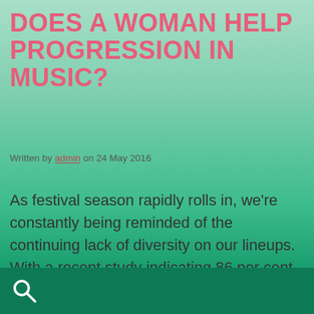DOES A WOMAN HELP PROGRESSION IN MUSIC?
Written by admin on 24 May 2016
As festival season rapidly rolls in, we're constantly being reminded of the continuing lack of diversity on our lineups. With a recent study indicating 86 per cent of the lineups of 12 major music festivals last year including Glastonbury, Reading and Leeds and Creamfields were male, it